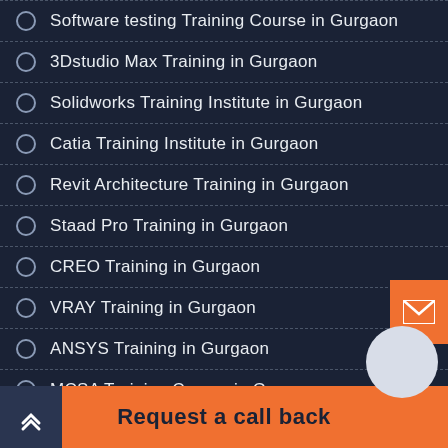Software testing Training Course in Gurgaon
3Dstudio Max Training in Gurgaon
Solidworks Training Institute in Gurgaon
Catia Training Institute in Gurgaon
Revit Architecture Training in Gurgaon
Staad Pro Training in Gurgaon
CREO Training in Gurgaon
VRAY Training in Gurgaon
ANSYS Training in Gurgaon
MCSA Training Course in Gurgaon
CCNP Training Course in Gurgaon
Request a call back